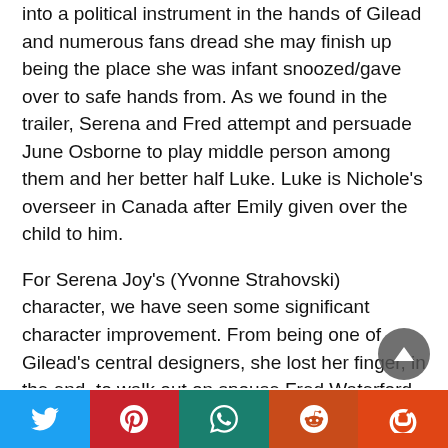into a political instrument in the hands of Gilead and numerous fans dread she may finish up being the place she was infant snoozed/gave over to safe hands from. As we found in the trailer, Serena and Fred attempt and persuade June Osborne to play middle person among them and her better half Luke. Luke is Nichole's overseer in Canada after Emily given over the child to him.
For Serena Joy's (Yvonne Strahovski) character, we have seen some significant character improvement. From being one of Gilead's central designers, she lost her finger, in the end, to walk out on spouse Fred Waterford (Joseph Fiennes).
[Figure (infographic): Social sharing bar with 5 buttons: Twitter (blue), Pinterest (red), WhatsApp (teal), Reddit (orange-red), StumbleUpon (dark orange-red)]